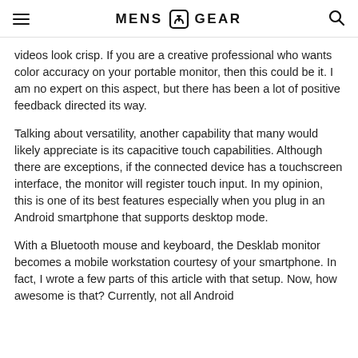MENS GEAR
videos look crisp. If you are a creative professional who wants color accuracy on your portable monitor, then this could be it. I am no expert on this aspect, but there has been a lot of positive feedback directed its way.
Talking about versatility, another capability that many would likely appreciate is its capacitive touch capabilities. Although there are exceptions, if the connected device has a touchscreen interface, the monitor will register touch input. In my opinion, this is one of its best features especially when you plug in an Android smartphone that supports desktop mode.
With a Bluetooth mouse and keyboard, the Desklab monitor becomes a mobile workstation courtesy of your smartphone. In fact, I wrote a few parts of this article with that setup. Now, how awesome is that? Currently, not all Android